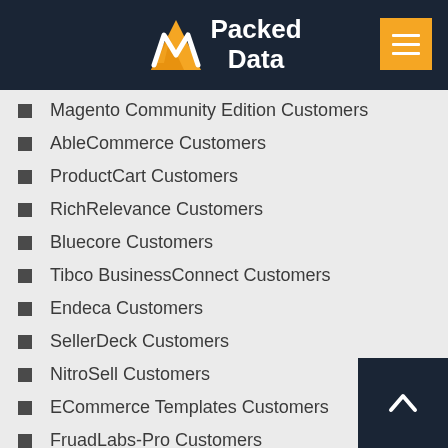Packed Data
Magento Community Edition Customers
AbleCommerce Customers
ProductCart Customers
RichRelevance Customers
Bluecore Customers
Tibco BusinessConnect Customers
Endeca Customers
SellerDeck Customers
NitroSell Customers
ECommerce Templates Customers
FruadLabs-Pro Customers
Lengow Customers